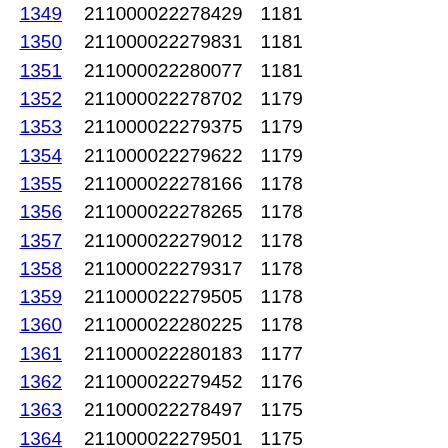| ID | Code | Value |
| --- | --- | --- |
| 1349 | 211000022278429 | 1181 |
| 1350 | 211000022279831 | 1181 |
| 1351 | 211000022280077 | 1181 |
| 1352 | 211000022278702 | 1179 |
| 1353 | 211000022279375 | 1179 |
| 1354 | 211000022279622 | 1179 |
| 1355 | 211000022278166 | 1178 |
| 1356 | 211000022278265 | 1178 |
| 1357 | 211000022279012 | 1178 |
| 1358 | 211000022279317 | 1178 |
| 1359 | 211000022279505 | 1178 |
| 1360 | 211000022280225 | 1178 |
| 1361 | 211000022280183 | 1177 |
| 1362 | 211000022279452 | 1176 |
| 1363 | 211000022278497 | 1175 |
| 1364 | 211000022279501 | 1175 |
| 1365 | 211000022278610 | 1174 |
| 1366 | 211000022279811 | 1174 |
| 1367 | 211000022278688 | 1173 |
| 1368 | 211000022279360 | 1173 |
| 1369 | 211000022279803 | 1173 |
| 1370 | 211000022278432 | 1171 |
| 1371 | 211000022279679 | 1171 |